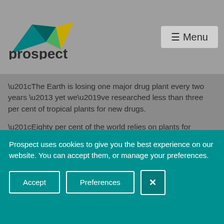[Figure (logo): Prospect magazine logo with geometric teal/green and yellow/gold triangular shape above the word 'prospect' in dark bold text]
[Figure (other): Menu button with hamburger icon and text 'Menu' on grey background]
“The Earth is losing one major drug plant every two years – yet we’ve researched less than three per cent of tropical plants for new drugs.
“Eighty per cent of the world relies on plants for medicine, yet 15,000 medicinal plants are threatened with extinction worldwide. And 70 per cent of the top-selling pharmaceutical drugs are directly or indirectly
Prospect uses cookies to give you the best experience on our website. You can accept them, or manage your preferences.